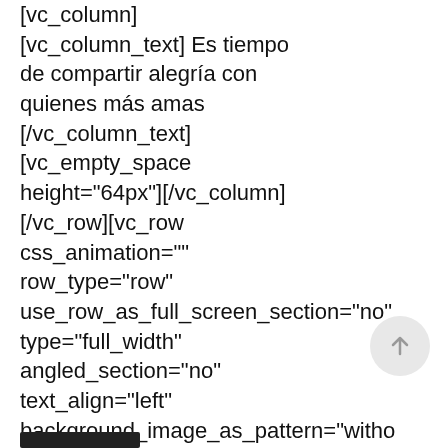[vc_column] [vc_column_text] Es tiempo de compartir alegría con quienes más amas [/vc_column_text] [vc_empty_space height="64px"][/vc_column] [/vc_row][vc_row css_animation="" row_type="row" use_row_as_full_screen_section="no" type="full_width" angled_section="no" text_align="left" background_image_as_pattern="witho [vc_column] [vc_column_text] Llegó diciembre, el último mes de 2020. Ciertamente ha sido un año difícil. Todos hemos perdido algo;...